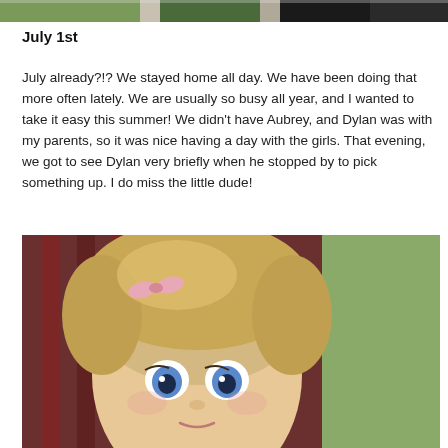[Figure (photo): Partial photo at top of page showing people in formal/outdoor setting, partially cropped]
July 1st
July already?!?  We stayed home all day.  We have been doing that more often lately.  We are usually so busy all year, and I wanted to take it easy this summer!  We didn't have Aubrey, and Dylan was with my parents, so it was nice having a day with the girls.  That evening, we got to see Dylan very briefly when he stopped by to pick something up.  I do miss the little dude!
[Figure (photo): Close-up photo of a young blonde toddler girl with a pink bow in her hair, large blue eyes, looking at the camera]